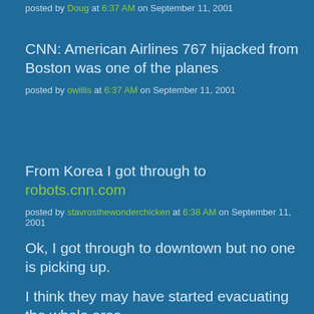posted by Doug at 6:37 AM on September 11, 2001
CNN: American Airlines 767 hijacked from Boston was one of the planes
posted by owillis at 6:37 AM on September 11, 2001
From Korea I got through to robots.cnn.com
posted by stavrosthewonderchicken at 6:38 AM on September 11, 2001
Ok, I got through to downtown but no one is picking up.
I think they may have started evacuating the whole area.
posted by rich at 6:38 AM on September 11, 2001